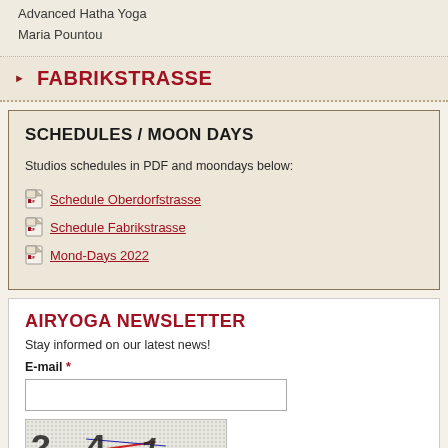Advanced Hatha Yoga
Maria Pountou
FABRIKSTRASSE
SCHEDULES / MOON DAYS
Studios schedules in PDF and moondays below:
Schedule Oberdorfstrasse
Schedule Fabrikstrasse
Mond-Days 2022
AIRYOGA NEWSLETTER
Stay informed on our latest news!
E-mail *
[Figure (other): CAPTCHA image showing distorted numbers/letters: 2, 4, and another character with colored lines and noise]